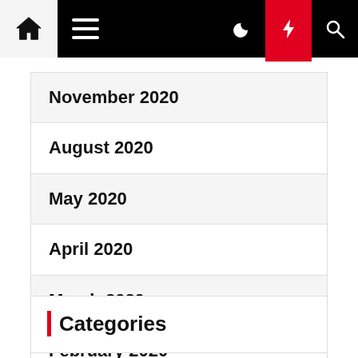Navigation bar with home, menu, moon, lightning, and search icons
November 2020
August 2020
May 2020
April 2020
March 2020
February 2020
January 2020
Categories